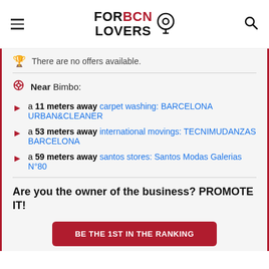FORBCN LOVERS
There are no offers available.
Near Bimbo:
a 11 meters away carpet washing: BARCELONA URBAN&CLEANER
a 53 meters away international movings: TECNIMUDANZAS BARCELONA
a 59 meters away santos stores: Santos Modas Galerias N°80
Are you the owner of the business? PROMOTE IT!
BE THE 1ST IN THE RANKING